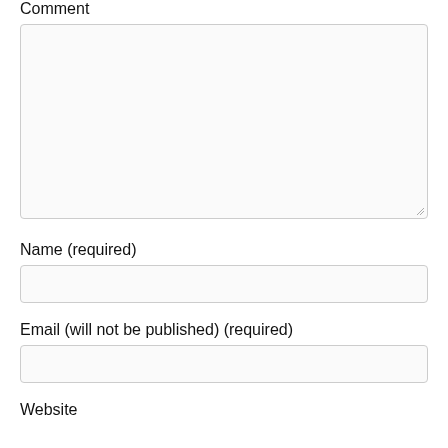Comment
Name (required)
Email (will not be published) (required)
Website